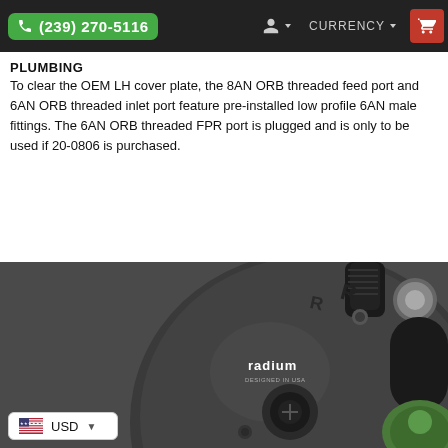(239) 270-5116  CURRENCY
PLUMBING
To clear the OEM LH cover plate, the 8AN ORB threaded feed port and 6AN ORB threaded inlet port feature pre-installed low profile 6AN male fittings. The 6AN ORB threaded FPR port is plugged and is only to be used if 20-0806 is purchased.
[Figure (photo): Close-up photo of a Radium Engineering fuel rail or fuel system component — a dark anodized aluminum disc/plate with 'radium DESIGNED IN USA' logo, multiple AN fittings including a black threaded fitting and a green component, plus smaller hardware ports.]
USD